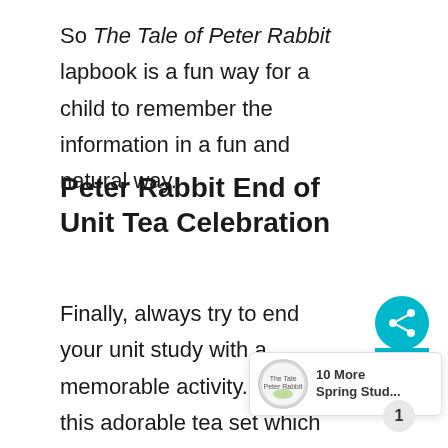So The Tale of Peter Rabbit lapbook is a fun way for a child to remember the information in a fun and natural way.
Peter Rabbit End of Unit Tea Celebration
Finally, always try to end your unit study with a memorable activity. I found this adorable tea set which has is a 15-Piece Woodland-Themed Tin Tea Set, Includes Teapot, 4 Plates, 4 Cups, 4 Saucers, Serving Tray